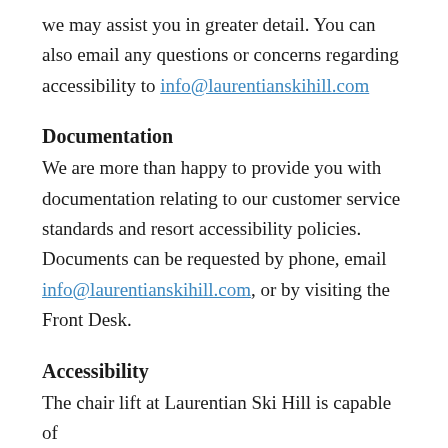we may assist you in greater detail. You can also email any questions or concerns regarding accessibility to info@laurentianskihill.com
Documentation
We are more than happy to provide you with documentation relating to our customer service standards and resort accessibility policies. Documents can be requested by phone, email info@laurentianskihill.com, or by visiting the Front Desk.
Accessibility
The chair lift at Laurentian Ski Hill is capable of